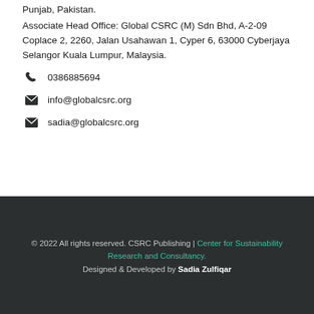Punjab, Pakistan.
Associate Head Office: Global CSRC (M) Sdn Bhd, A-2-09 Coplace 2, 2260, Jalan Usahawan 1, Cyper 6, 63000 Cyberjaya Selangor Kuala Lumpur, Malaysia.
0386885694
info@globalcsrc.org
sadia@globalcsrc.org
© 2022 All rights reserved. CSRC Publishing | Center for Sustainability Research and Consultancy. Designed & Developed by Sadia Zulfiqar